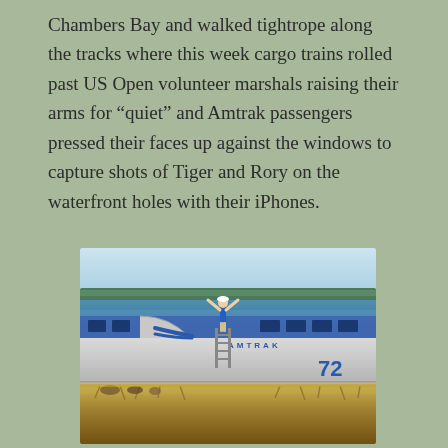Chambers Bay and walked tightrope along the tracks where this week cargo trains rolled past US Open volunteer marshals raising their arms for “quiet” and Amtrak passengers pressed their faces up against the windows to capture shots of Tiger and Rory on the waterfront holes with their iPhones.
[Figure (photo): A person standing on top of an Amtrak train (car #72) with arms raised, at Chambers Bay golf course, with water and tree-lined hills in the background and dry grass in the foreground.]